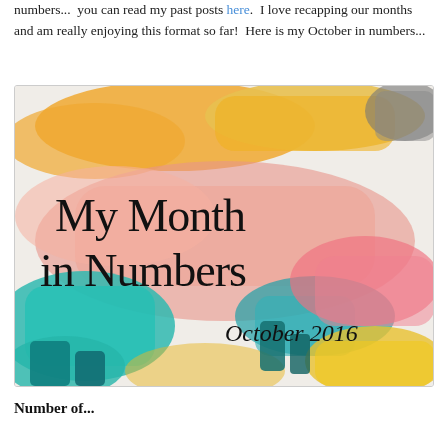numbers...  you can read my past posts here.  I love recapping our months and am really enjoying this format so far!  Here is my October in numbers...
[Figure (illustration): Colorful abstract brush-stroke background image with text overlay reading 'My Month in Numbers' and 'October 2016' in elegant black lettering.]
Number of...